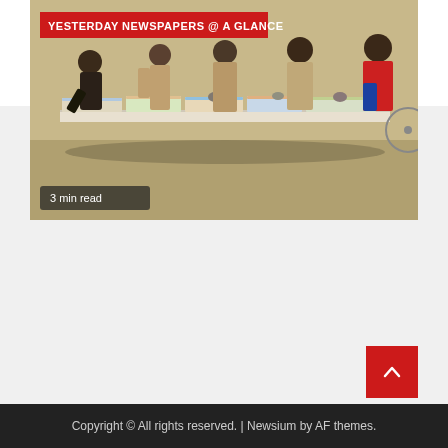[Figure (photo): People browsing newspapers laid out on a long table outdoors. A red badge reads 'YESTERDAY NEWSPAPERS @ A GLANCE' and a dark badge reads '3 min read'.]
Yesterday 28/8/22 Newspapers Headlines @ A Glance
8 hours ago  admin
Copyright © All rights reserved. | Newsium by AF themes.